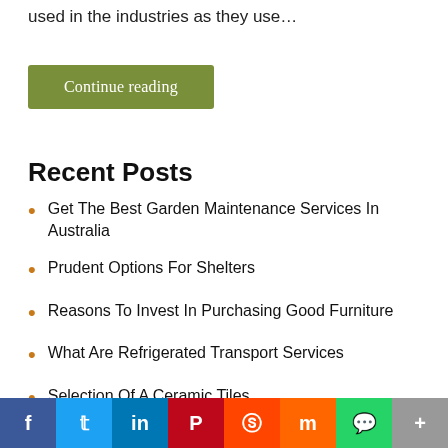used in the industries as they use…
Continue reading
Recent Posts
Get The Best Garden Maintenance Services In Australia
Prudent Options For Shelters
Reasons To Invest In Purchasing Good Furniture
What Are Refrigerated Transport Services
Selection Of A Ceramic Tiles
Facebook Twitter LinkedIn Pinterest Reddit Mix WhatsApp More